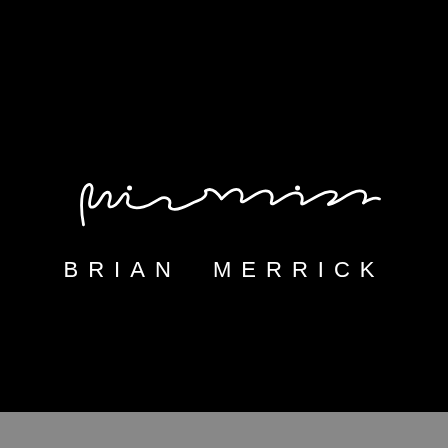[Figure (logo): Brian Merrick logo: a stylized cursive handwritten signature in white on black background above the printed text BRIAN MERRICK in white spaced capital letters]